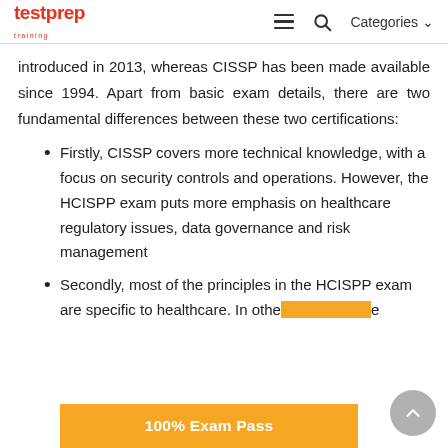testprep training | Categories
introduced in 2013, whereas CISSP has been made available since 1994. Apart from basic exam details, there are two fundamental differences between these two certifications:
Firstly, CISSP covers more technical knowledge, with a focus on security controls and operations. However, the HCISPP exam puts more emphasis on healthcare regulatory issues, data governance and risk management
Secondly, most of the principles in the HCISPP exam are specific to healthcare. In othe... e
100% Exam Pass